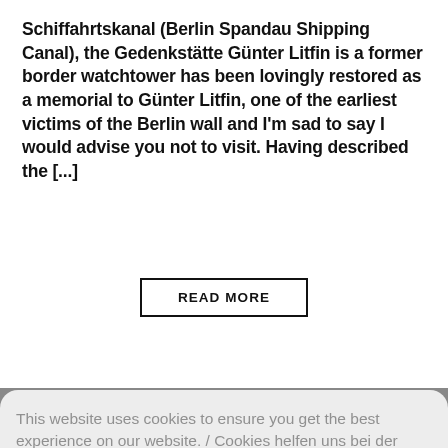Schiffahrtskanal (Berlin Spandau Shipping Canal), the Gedenkstätte Günter Litfin is a former border watchtower has been lovingly restored as a memorial to Günter Litfin, one of the earliest victims of the Berlin wall and I'm sad to say I would advise you not to visit. Having described the [...]
READ MORE
This website uses cookies to ensure you get the best experience on our website. / Cookies helfen uns bei der Bereitstellung unserer Inhalte und Dienste. Durch die weitere Nutzung der Webseite stimmen Sie der Verwendung von Cookies zu.
Okay!
[Figure (photo): Gray/dark photograph partially visible in the background behind the cookie consent banner]